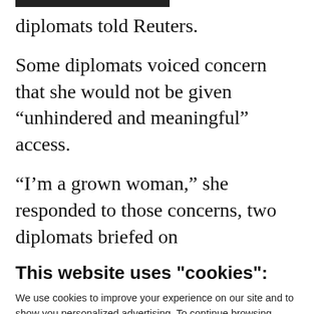diplomats told Reuters.
Some diplomats voiced concern that she would not be given “unhindered and meaningful” access.
“I’m a grown woman,” she responded to those concerns, two diplomats briefed on
This website uses "cookies":
We use cookies to improve your experience on our site and to show you personalized advertising. To continue browsing, please click ‘OK, I Accept’.
For more information, please read our Privacy Policy
Ok, I Accept